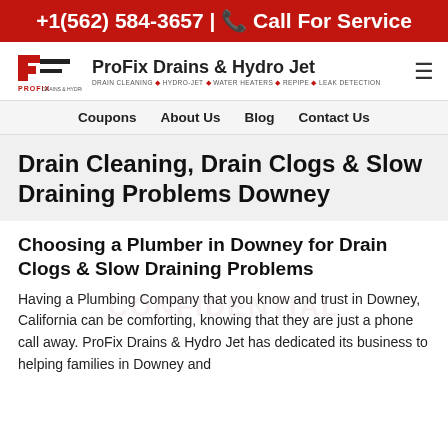+1(562) 584-3657 | Call For Service
[Figure (logo): ProFix Drains & Hydro Jet company logo with red and black PF icon and PROFIX text below]
ProFix Drains & Hydro Jet
DRAIN CLEANING ◆ HYDRO-JET ◆ WATER HEATERS ◆ REPIPE ◆ LEAK DETECTION
Coupons   About Us   Blog   Contact Us
Drain Cleaning, Drain Clogs & Slow Draining Problems Downey
Choosing a Plumber in Downey for Drain Clogs & Slow Draining Problems
Having a Plumbing Company that you know and trust in Downey, California can be comforting, knowing that they are just a phone call away. ProFix Drains & Hydro Jet has dedicated its business to helping families in Downey and